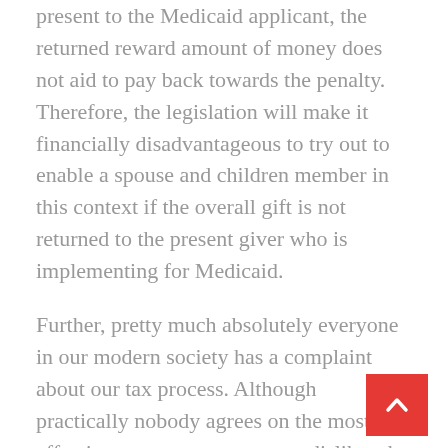present to the Medicaid applicant, the returned reward amount of money does not aid to pay back towards the penalty. Therefore, the legislation will make it financially disadvantageous to try out to enable a spouse and children member in this context if the overall gift is not returned to the present giver who is implementing for Medicaid.
Further, pretty much absolutely everyone in our modern society has a complaint about our tax process. Although practically nobody agrees on the most effective answer, every person dislikes the inconsistency and from time to time clearly unfair results that our latest tax program brings about.
Outdoors of confusing regulations when interacting with the federal government, the truth that professional parties to lawsuits just about never get attorney's fees